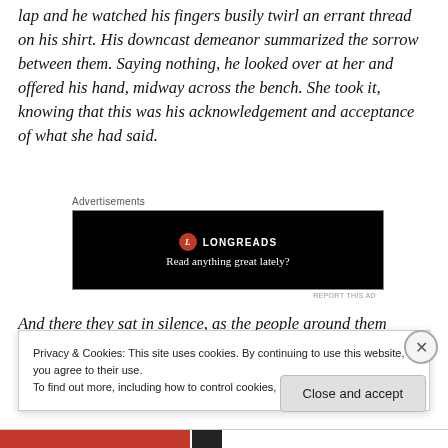lap and he watched his fingers busily twirl an errant thread on his shirt. His downcast demeanor summarized the sorrow between them. Saying nothing, he looked over at her and offered his hand, midway across the bench. She took it, knowing that this was his acknowledgement and acceptance of what she had said.
Advertisements
[Figure (other): Longreads advertisement banner: black background with red circle logo, text 'LONGREADS' and tagline 'Read anything great lately?']
And there they sat in silence, as the people around them
Privacy & Cookies: This site uses cookies. By continuing to use this website, you agree to their use.
To find out more, including how to control cookies, see here: Cookie Policy
Close and accept